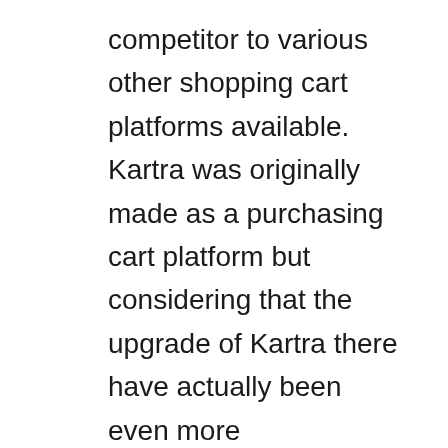competitor to various other shopping cart platforms available. Kartra was originally made as a purchasing cart platform but considering that the upgrade of Kartra there have actually been even more enhancements to the Karta buying Cart..
Making use of the drag & drop attributes you can quickly customize your check out web pages and also quickly attach to your picked analytics accounts to monitor sales and